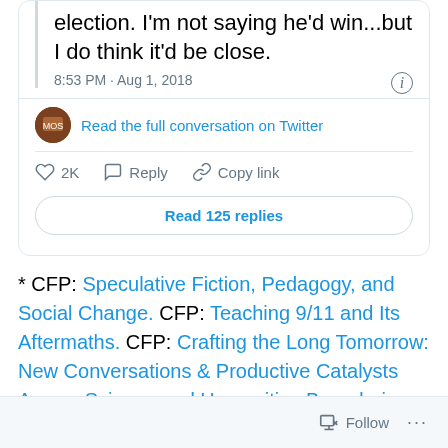election. I'm not saying he'd win...but I do think it'd be close.
8:53 PM · Aug 1, 2018
Read the full conversation on Twitter
2K  Reply  Copy link
Read 125 replies
* CFP: Speculative Fiction, Pedagogy, and Social Change. CFP: Teaching 9/11 and Its Aftermaths. CFP: Crafting the Long Tomorrow: New Conversations & Productive Catalysts Across Science and Humanities Boundaries as the Global Emergency Worsens. CFP: Episodes VII, VIII, IX.
Follow ...